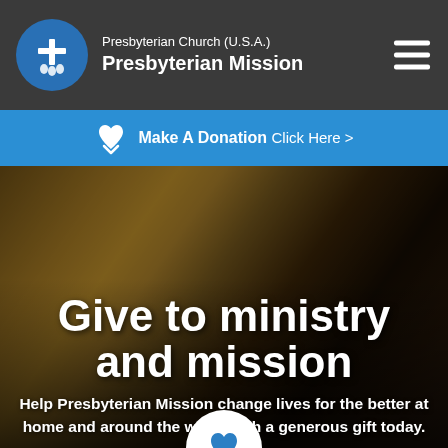Presbyterian Church (U.S.A.) Presbyterian Mission
Make A Donation Click Here >
[Figure (photo): Group of African children in yellow school uniforms sitting together, looking at camera, dark background]
Give to ministry and mission
Help Presbyterian Mission change lives for the better at home and around the world with a generous gift today.